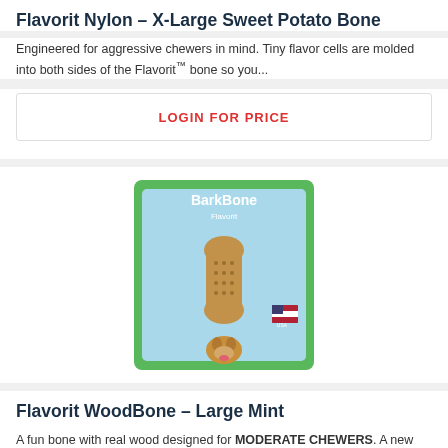Flavorit Nylon – X-Large Sweet Potato Bone
Engineered for aggressive chewers in mind. Tiny flavor cells are molded into both sides of the Flavorit™ bone so you...
LOGIN FOR PRICE
[Figure (photo): Product photo of Flavorit BarkBone Wood dog chew toy in retail packaging, showing a bone-shaped chew with a dog and made in USA label. Packaging is green/blue themed.]
Flavorit WoodBone – Large Mint
A fun bone with real wood designed for MODERATE CHEWERS. A new